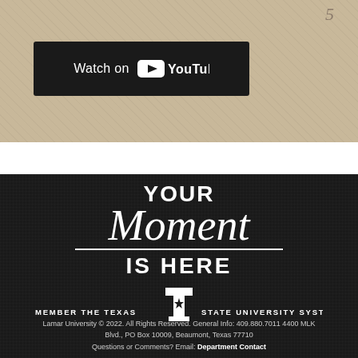[Figure (screenshot): YouTube watch badge on aged parchment/wood background with scratch marks. Dark rectangle containing 'Watch on' text with YouTube logo (play button icon and YouTube wordmark in white).]
YOUR Moment IS HERE
[Figure (logo): Texas State University System logo - stylized T with star, used as part of 'MEMBER THE TEXAS [logo] STATE UNIVERSITY SYSTEM' line]
Lamar University © 2022. All Rights Reserved. General Info: 409.880.7011 4400 MLK Blvd., PO Box 10009, Beaumont, Texas 77710 Questions or Comments? Email: Department Contact